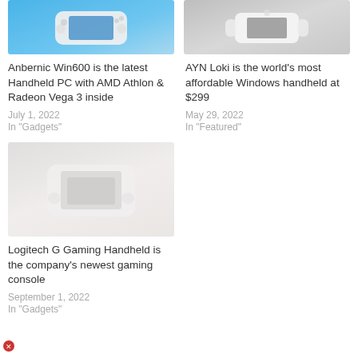[Figure (photo): Anbernic Win600 handheld PC on blue background]
[Figure (photo): AYN Loki handheld gaming device on gray background]
Anbernic Win600 is the latest Handheld PC with AMD Athlon & Radeon Vega 3 inside
July 1, 2022
In "Gadgets"
AYN Loki is the world's most affordable Windows handheld at $299
May 29, 2022
In "Featured"
[Figure (photo): Logitech G Gaming Handheld device on light background]
Logitech G Gaming Handheld is the company's newest gaming console
September 1, 2022
In "Gadgets"